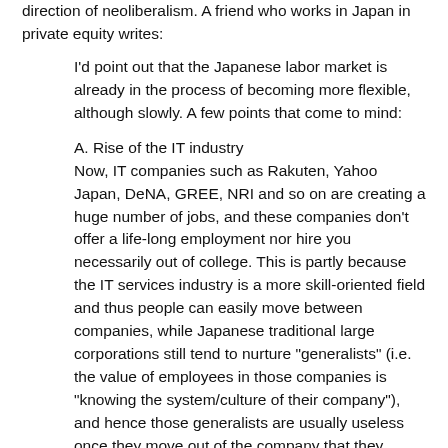direction of neoliberalism. A friend who works in Japan in private equity writes:
I'd point out that the Japanese labor market is already in the process of becoming more flexible, although slowly. A few points that come to mind:
A. Rise of the IT industry
Now, IT companies such as Rakuten, Yahoo Japan, DeNA, GREE, NRI and so on are creating a huge number of jobs, and these companies don't offer a life-long employment nor hire you necessarily out of college. This is partly because the IT services industry is a more skill-oriented field and thus people can easily move between companies, while Japanese traditional large corporations still tend to nurture "generalists" (i.e. the value of employees in those companies is "knowing the system/culture of their company"), and hence those generalists are usually useless once they move out of the company that they joined out of college. So the rise of IT service industry is changing the employment custom to